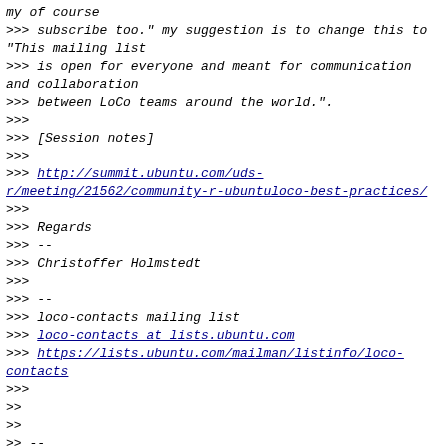my of course
>>> subscribe too." my suggestion is to change this to "This mailing list
>>> is open for everyone and meant for communication and collaboration
>>> between LoCo teams around the world.".
>>>
>>> [Session notes]
>>>
>>> http://summit.ubuntu.com/uds-r/meeting/21562/community-r-ubuntuloco-best-practices/
>>>
>>> Regards
>>> --
>>> Christoffer Holmstedt
>>>
>>> --
>>> loco-contacts mailing list
>>> loco-contacts at lists.ubuntu.com
>>> https://lists.ubuntu.com/mailman/listinfo/loco-contacts
>>>
>>
>>
>> --
>> loco-contacts mailing list
>> loco-contacts at lists.ubuntu.com
>> https://lists.ubuntu.com/mailman/listinfo/loco-contacts
>>